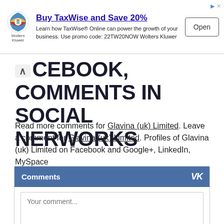[Figure (other): Wolters Kluwer advertisement banner: logo on left, headline 'Buy TaxWise and Save 20%', body text 'Learn how TaxWise® Online can power the growth of your business. Use promo code: 22TW20NOW Wolters Kluwer', Open button on right]
CEBOOK, COMMENTS IN SOCIAL NERWORKS
Read more comments for Glavina (uk) Limited. Leave a comment for Glavina (uk) Limited. Profiles of Glavina (uk) Limited on Facebook and Google+, LinkedIn, MySpace
Comments
Your comment...
Send